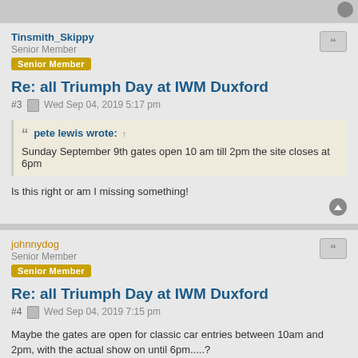Tinsmith_Skippy
Senior Member
Senior Member
Re: all Triumph Day at IWM Duxford
#3  Wed Sep 04, 2019 5:17 pm
pete lewis wrote: ↑
Sunday September 9th gates open 10 am till 2pm the site closes at 6pm
Is this right or am I missing something!
johnnydog
Senior Member
Senior Member
Re: all Triumph Day at IWM Duxford
#4  Wed Sep 04, 2019 7:15 pm
Maybe the gates are open for classic car entries between 10am and 2pm, with the actual show on until 6pm.....?